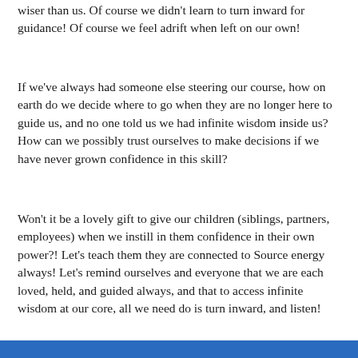wiser than us.  Of course we didn't learn to turn inward for guidance!  Of course we feel adrift when left on our own!
If we've always had someone else steering our course, how on earth do we decide where to go when they are no longer here to guide us, and no one told us we had infinite wisdom inside us?  How can we possibly trust ourselves to make decisions if we have never grown confidence in this skill?
Won't it be a lovely gift to give our children (siblings, partners, employees) when we instill in them confidence in their own power?!  Let's teach them they are connected to Source energy always!  Let's remind ourselves and everyone that we are each loved, held, and guided always, and that to access infinite wisdom at our core, all we need do is turn inward, and listen!